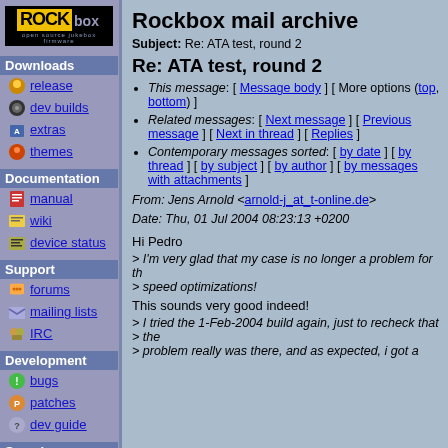[Figure (logo): Rockbox logo - black background with yellow ROCK text and 'box' subscript]
Downloads
release
dev builds
extras
themes
Documentation
manual
wiki
device status
Support
forums
mailing lists
IRC
Development
bugs
patches
dev guide
Search
Rockbox mail archive
Subject: Re: ATA test, round 2
Re: ATA test, round 2
This message: [ Message body ] [ More options (top, bottom) ]
Related messages: [ Next message ] [ Previous message ] [ Next in thread ] [ Replies ]
Contemporary messages sorted: [ by date ] [ by thread ] [ by subject ] [ by author ] [ by messages with attachments ]
From: Jens Arnold <arnold-j_at_t-online.de>
Date: Thu, 01 Jul 2004 08:23:13 +0200
Hi Pedro
> I'm very glad that my case is no longer a problem for th
> speed optimizations!
This sounds very good indeed!
> I tried the 1-Feb-2004 build again, just to recheck that the
> problem really was there, and as expected, i got a